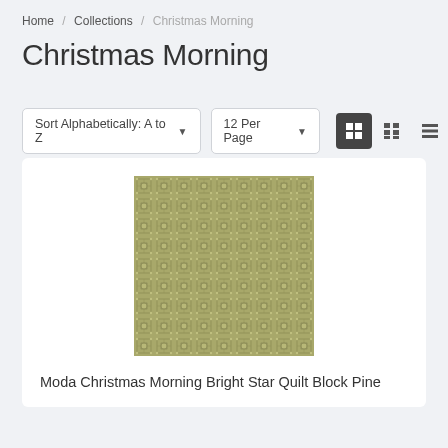Home / Collections / Christmas Morning
Christmas Morning
Sort Alphabetically: A to Z  |  12 Per Page
[Figure (screenshot): E-commerce collection page showing a fabric product card with a green geometric patterned quilt fabric image]
Moda Christmas Morning Bright Star Quilt Block Pine